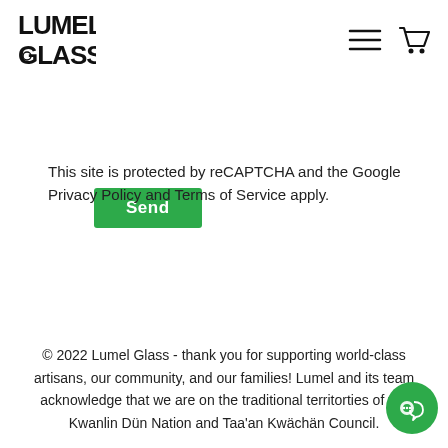Lumel Glass [logo] [hamburger menu] [cart icon]
Send
This site is protected by reCAPTCHA and the Google Privacy Policy and Terms of Service apply.
© 2022 Lumel Glass - thank you for supporting world-class artisans, our community, and our families! Lumel and its team acknowledge that we are on the traditional territorties of the Kwanlin Dün Nation and Taa'an Kwächän Council.